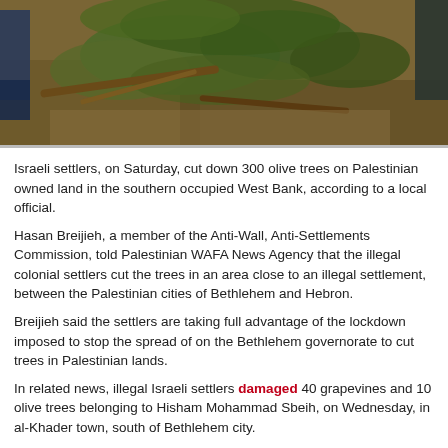[Figure (photo): Photograph of cut/fallen olive trees with people partially visible at edges, brown and green debris on ground]
Israeli settlers, on Saturday, cut down 300 olive trees on Palestinian owned land in the southern occupied West Bank, according to a local official.
Hasan Breijieh, a member of the Anti-Wall, Anti-Settlements Commission, told Palestinian WAFA News Agency that the illegal colonial settlers cut the trees in an area close to an illegal settlement, between the Palestinian cities of Bethlehem and Hebron.
Breijieh said the settlers are taking full advantage of the lockdown imposed to stop the spread of on the Bethlehem governorate to cut trees in Palestinian lands.
In related news, illegal Israeli settlers damaged 40 grapevines and 10 olive trees belonging to Hisham Mohammad Sbeih, on Wednesday, in al-Khader town, south of Bethlehem city.
(Source / 28.03.2020)
Category: IMEMC, Politics Tagged Terrorism  Leave a comment/